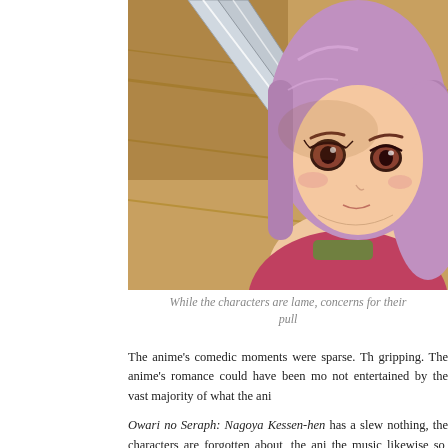[Figure (illustration): Anime screenshot showing a purple-haired female character with brown eyes looking upward, with a blade/weapon visible in the upper portion of the frame. Wooden floor/wall background. Character wearing pink/red clothing.]
While the characters are lame, concerns for their pull
The anime's comedic moments were sparse. The anime's romance could have been more gripping. The anime's romance could have been mo not entertained by the vast majority of what the ani
Owari no Seraph: Nagoya Kessen-hen has a slew nothing, the characters are forgotten about, the ani the music likewise so, and, as a whole, it fails to forever, but, thankfully, this anime is not.